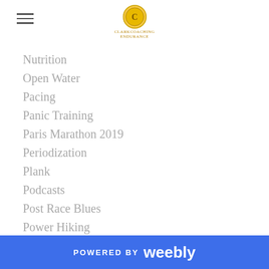[logo: circular gold emblem with text]
Nutrition
Open Water
Pacing
Panic Training
Paris Marathon 2019
Periodization
Plank
Podcasts
Post Race Blues
Power Hiking
Protein
Quarantine Workouts
Race
Race Course
Race Day
Race Preparation
POWERED BY weebly